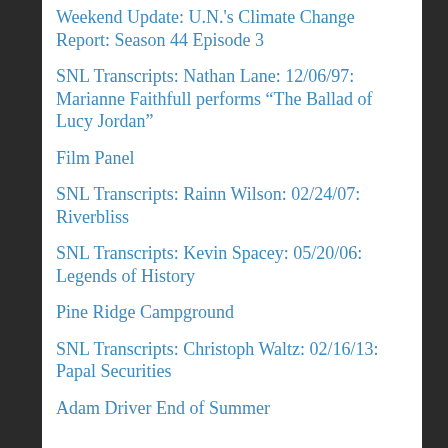Weekend Update: U.N.'s Climate Change Report: Season 44 Episode 3
SNL Transcripts: Nathan Lane: 12/06/97: Marianne Faithfull performs “The Ballad of Lucy Jordan”
Film Panel
SNL Transcripts: Rainn Wilson: 02/24/07: Riverbliss
SNL Transcripts: Kevin Spacey: 05/20/06: Legends of History
Pine Ridge Campground
SNL Transcripts: Christoph Waltz: 02/16/13: Papal Securities
Adam Driver End of Summer